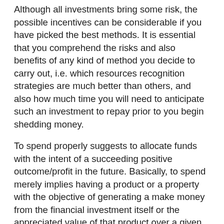Although all investments bring some risk, the possible incentives can be considerable if you have picked the best methods. It is essential that you comprehend the risks and also benefits of any kind of method you decide to carry out, i.e. which resources recognition strategies are much better than others, and also how much time you will need to anticipate such an investment to repay prior to you begin shedding money.
To spend properly suggests to allocate funds with the intent of a succeeding positive outcome/profit in the future. Basically, to spend merely implies having a product or a property with the objective of generating a make money from the financial investment itself or the appreciated value of that product over a given period of time. It also entails the use of funding assets like money, checking account as well as any other monetary tool or asset. Spending is very much related to business however it can be made use of for various other functions as well.